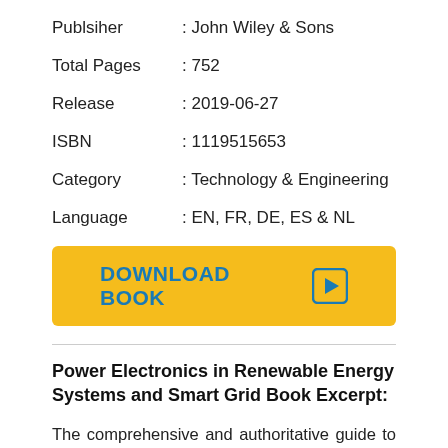Publsiher : John Wiley & Sons
Total Pages : 752
Release : 2019-06-27
ISBN : 1119515653
Category : Technology & Engineering
Language : EN, FR, DE, ES & NL
[Figure (other): Download Book button with play icon, yellow background, teal text]
Power Electronics in Renewable Energy Systems and Smart Grid Book Excerpt:
The comprehensive and authoritative guide to power electronics in renewable energy systems Power electronics plays a significant role in modern industrial automation and high-